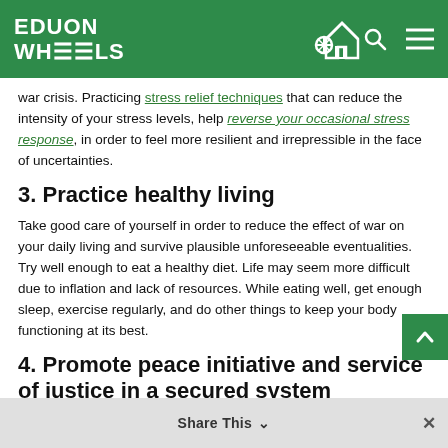EDUON WHOOLS
war crisis. Practicing stress relief techniques that can reduce the intensity of your stress levels, help reverse your occasional stress response, in order to feel more resilient and irrepressible in the face of uncertainties.
3. Practice healthy living
Take good care of yourself in order to reduce the effect of war on your daily living and survive plausible unforeseeable eventualities. Try well enough to eat a healthy diet. Life may seem more difficult due to inflation and lack of resources. While eating well, get enough sleep, exercise regularly, and do other things to keep your body functioning at its best.
4. Promote peace initiative and service of justice in a secured system
Support civil society in the peace process and call for justice, equity,
Share This